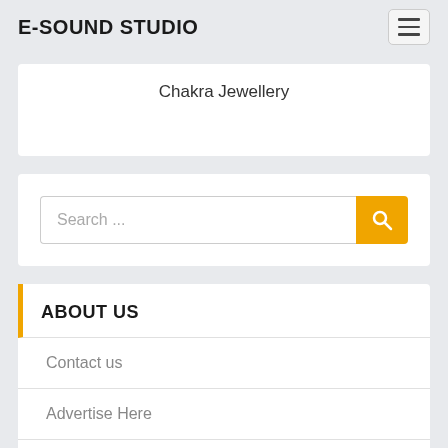E-SOUND STUDIO
Chakra Jewellery
[Figure (other): Search bar with text 'Search ...' and orange search button with magnifying glass icon]
ABOUT US
Contact us
Advertise Here
Disclosure Policy